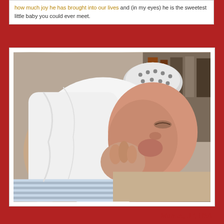how much joy he has brought into our lives and (in my eyes) he is the sweetest little baby you could ever meet.
[Figure (photo): Close-up photograph of a newborn baby with fist near mouth, wearing white clothing, held by an adult]
- Marcus, 37, USA